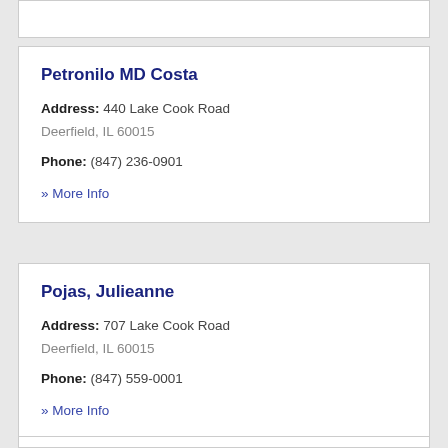Petronilo MD Costa
Address: 440 Lake Cook Road Deerfield, IL 60015
Phone: (847) 236-0901
» More Info
Pojas, Julieanne
Address: 707 Lake Cook Road Deerfield, IL 60015
Phone: (847) 559-0001
» More Info